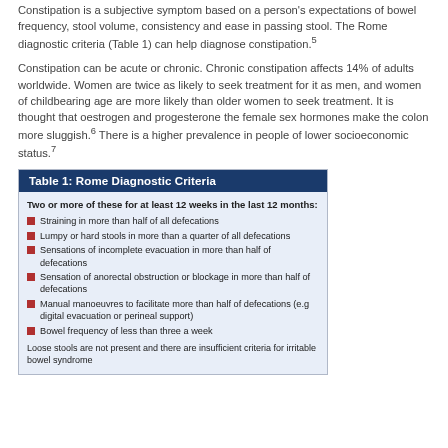Constipation is a subjective symptom based on a person's expectations of bowel frequency, stool volume, consistency and ease in passing stool. The Rome diagnostic criteria (Table 1) can help diagnose constipation.5
Constipation can be acute or chronic. Chronic constipation affects 14% of adults worldwide. Women are twice as likely to seek treatment for it as men, and women of childbearing age are more likely than older women to seek treatment. It is thought that oestrogen and progesterone the female sex hormones make the colon more sluggish.6 There is a higher prevalence in people of lower socioeconomic status.7
| Table 1: Rome Diagnostic Criteria |
| --- |
| Two or more of these for at least 12 weeks in the last 12 months: |
| Straining in more than half of all defecations |
| Lumpy or hard stools in more than a quarter of all defecations |
| Sensations of incomplete evacuation in more than half of defecations |
| Sensation of anorectal obstruction or blockage in more than half of defecations |
| Manual manoeuvres to facilitate more than half of defecations (e.g digital evacuation or perineal support) |
| Bowel frequency of less than three a week |
| Loose stools are not present and there are insufficient criteria for irritable bowel syndrome |